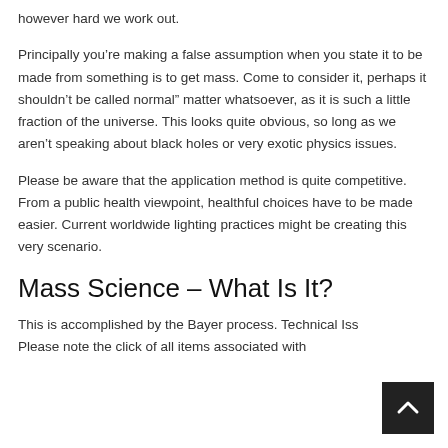however hard we work out.
Principally you’re making a false assumption when you state it to be made from something is to get mass. Come to consider it, perhaps it shouldn’t be called normal” matter whatsoever, as it is such a little fraction of the universe. This looks quite obvious, so long as we aren’t speaking about black holes or very exotic physics issues.
Please be aware that the application method is quite competitive. From a public health viewpoint, healthful choices have to be made easier. Current worldwide lighting practices might be creating this very scenario.
Mass Science – What Is It?
This is accomplished by the Bayer process. Technical Iss Please note the click of all items associated with